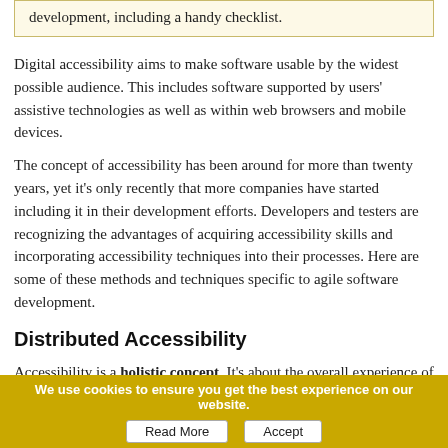development, including a handy checklist.
Digital accessibility aims to make software usable by the widest possible audience. This includes software supported by users' assistive technologies as well as within web browsers and mobile devices.
The concept of accessibility has been around for more than twenty years, yet it's only recently that more companies have started including it in their development efforts. Developers and testers are recognizing the advantages of acquiring accessibility skills and incorporating accessibility techniques into their processes. Here are some of these methods and techniques specific to agile software development.
Distributed Accessibility
Accessibility is a holistic concept. It's about the overall experience of the users interacting with a product on a technology stack in
We use cookies to ensure you get the best experience on our website.